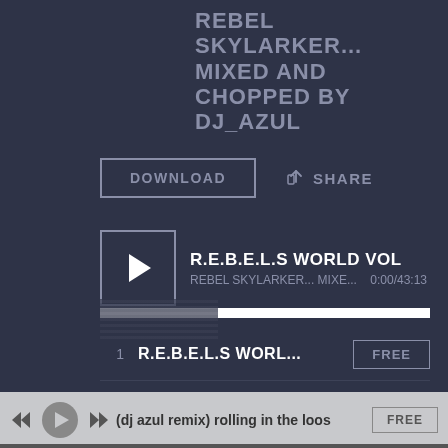REBEL SKYLARKER... MIXED AND CHOPPED BY DJ_AZUL
DOWNLOAD
SHARE
[Figure (screenshot): Music player interface showing R.E.B.E.L.S WORLD VOL track by REBEL SKYLARKER... MIXE... with time 0:00/43:13 and a play button]
1  R.E.B.E.L.S WORL...  FREE
(dj azul remix) rolling in the loos  FREE